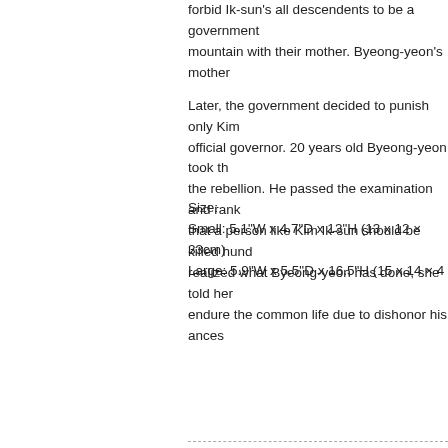forbid Ik-sun's all descendents to be a government official and forbid them to go up the mountain with their mother. Byeong-yeon's mother...
Later, the government decided to punish only Kim Ik-sun and not the official governor. 20 years old Byeong-yeon took the responsibility of the rebellion. He passed the examination and ranked... that a person like Kim Ik-sun should be killed hund... realized what Byeong-yeon has done, she told her... endure the common life due to dishonor his ances...
Size:
Small: 5.1"W x 4.7"D x 13"H (13 x 12 × 33cm)
Large: 5.9"W x 5.5"D x 16.5"H (15 x 14 × 4